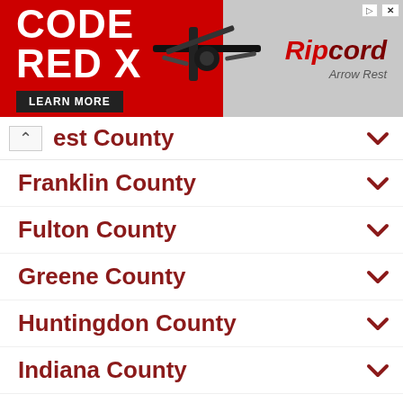[Figure (illustration): Advertisement banner for Code Red X arrow rest by Ripcord. Red background on left with 'CODE RED X' in large white text and a 'LEARN MORE' button. Gray background on right with Ripcord logo in red italic text and 'Arrow Rest' subtitle. A black arrow rest product image is shown in the center.]
est County
Franklin County
Fulton County
Greene County
Huntingdon County
Indiana County
Jefferson County
Juniata County
Lackawanna County
Lancaster County
Lawrence County